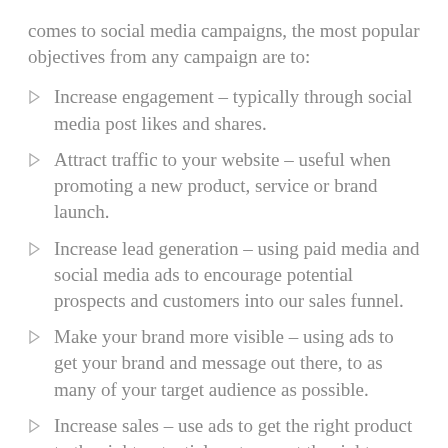comes to social media campaigns, the most popular objectives from any campaign are to:
Increase engagement – typically through social media post likes and shares.
Attract traffic to your website – useful when promoting a new product, service or brand launch.
Increase lead generation – using paid media and social media ads to encourage potential prospects and customers into our sales funnel.
Make your brand more visible – using ads to get your brand and message out there, to as many of your target audience as possible.
Increase sales – use ads to get the right product to the right potential customer at the right